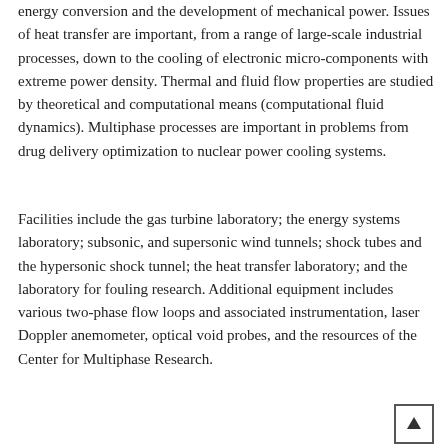energy conversion and the development of mechanical power. Issues of heat transfer are important, from a range of large-scale industrial processes, down to the cooling of electronic micro-components with extreme power density. Thermal and fluid flow properties are studied by theoretical and computational means (computational fluid dynamics). Multiphase processes are important in problems from drug delivery optimization to nuclear power cooling systems.
Facilities include the gas turbine laboratory; the energy systems laboratory; subsonic, and supersonic wind tunnels; shock tubes and the hypersonic shock tunnel; the heat transfer laboratory; and the laboratory for fouling research. Additional equipment includes various two-phase flow loops and associated instrumentation, laser Doppler anemometer, optical void probes, and the resources of the Center for Multiphase Research.